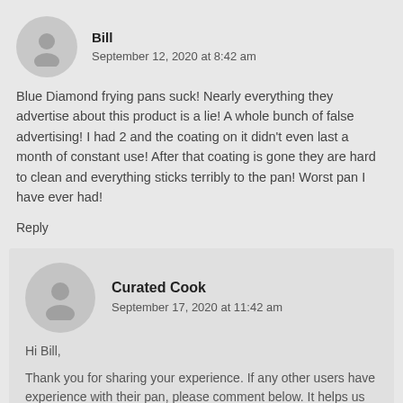Bill
September 12, 2020 at 8:42 am
Blue Diamond frying pans suck! Nearly everything they advertise about this product is a lie! A whole bunch of false advertising! I had 2 and the coating on it didn't even last a month of constant use! After that coating is gone they are hard to clean and everything sticks terribly to the pan! Worst pan I have ever had!
Reply
Curated Cook
September 17, 2020 at 11:42 am
Hi Bill,
Thank you for sharing your experience. If any other users have experience with their pan, please comment below. It helps us consumer get a better idea of how they perform.